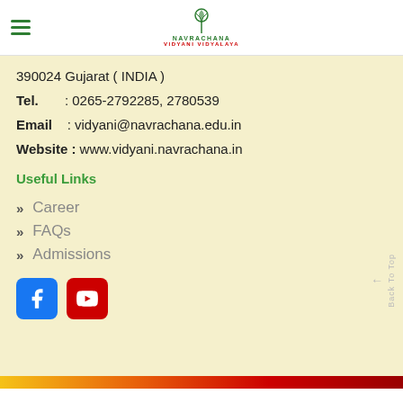Navrachana Vidyani Vidyalaya
390024 Gujarat ( INDIA )
Tel.  : 0265-2792285, 2780539
Email  : vidyani@navrachana.edu.in
Website : www.vidyani.navrachana.in
Useful Links
Career
FAQs
Admissions